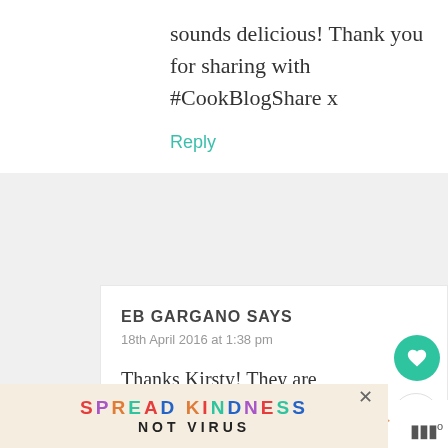sounds delicious! Thank you for sharing with #CookBlogShare x
Reply
EB GARGANO SAYS
18th April 2016 at 1:38 pm
Thanks Kirsty! They are very delicious – made
WHAT'S NEXT → Coconut Pineapple...
SPREAD KINDNESS NOT VIRUS